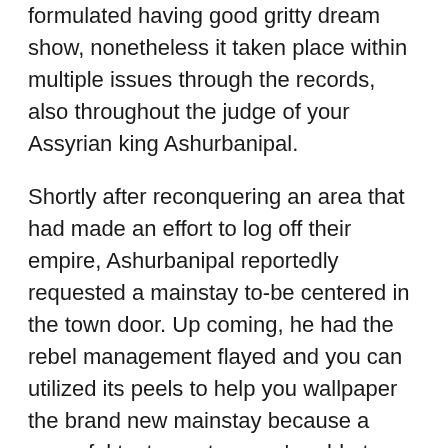formulated having good gritty dream show, nonetheless it taken place within multiple issues through the records, also throughout the judge of your Assyrian king Ashurbanipal.
Shortly after reconquering an area that had made an effort to log off their empire, Ashurbanipal reportedly requested a mainstay to-be centered in the town door. Up coming, he had the rebel management flayed and you can utilized its peels to help you wallpaper the brand new mainstay because a powerful testament so you're able to their wrath. For good scale, Ashurbanipal got a few cadavers impaled and put into display, appearing correct Ramsay-esque sadism.
This new Wall structure Keeps An ancient Roman Counterpart